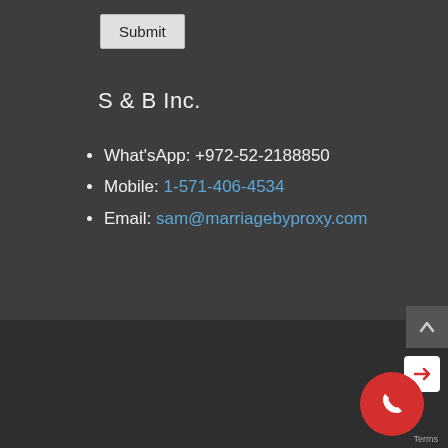Submit
S & B Inc.
What'sApp: +972-52-2188850
Mobile: 1-571-406-4534
Email: sam@marriagebyproxy.com